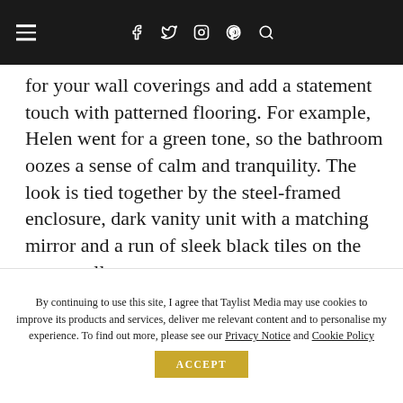≡  f  𝕏  ⊙  ℗  🔍
for your wall coverings and add a statement touch with patterned flooring. For example, Helen went for a green tone, so the bathroom oozes a sense of calm and tranquility. The look is tied together by the steel-framed enclosure, dark vanity unit with a matching mirror and a run of sleek black tiles on the same wall.
By continuing to use this site, I agree that Taylist Media may use cookies to improve its products and services, deliver me relevant content and to personalise my experience. To find out more, please see our Privacy Notice and Cookie Policy  ACCEPT